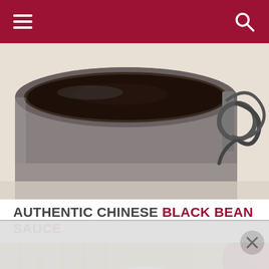Navigation bar with hamburger menu and search icon
[Figure (photo): Close-up of a glass jar with a metal bail-top clasp containing dark black bean sauce, photographed from above on a white surface.]
AUTHENTIC CHINESE BLACK BEAN SAUCE
[Figure (photo): A white ceramic bowl filled with dark, chunky authentic Chinese black bean sauce, placed on a bamboo mat with a wire rack, with a red decorative element in the upper-right corner.]
[Figure (photo): Advertisement bar overlay at the bottom of the page with a close/dismiss button.]